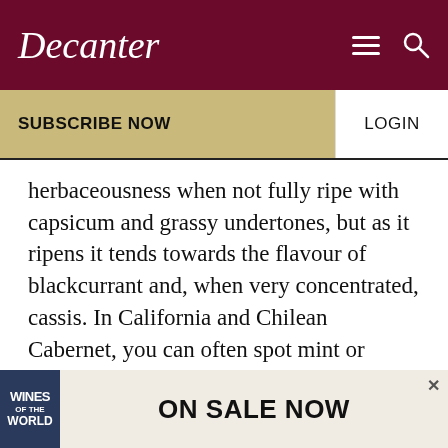Decanter
SUBSCRIBE NOW
LOGIN
herbaceousness when not fully ripe with capsicum and grassy undertones, but as it ripens it tends towards the flavour of blackcurrant and, when very concentrated, cassis. In California and Chilean Cabernet, you can often spot mint or eucalyptus. Its affinity with oak lends secondary characters with a range of vanilla, cedar, sandalwood, tobacco, coffee, musk and spicy notes.
Food matching with Cabernet Sauvignon: Wild
[Figure (screenshot): Advertisement banner showing 'Wines of the World' book on sale with text 'ON SALE NOW']